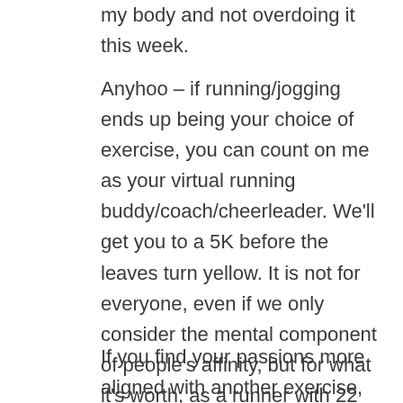my body and not overdoing it this week.
Anyhoo – if running/jogging ends up being your choice of exercise, you can count on me as your virtual running buddy/coach/cheerleader. We'll get you to a 5K before the leaves turn yellow. It is not for everyone, even if we only consider the mental component of people's affinity, but for what it's worth, as a runner with 22 years of 'experience', the coveted 'runner's high' is not a myth.
If you find your passions more aligned with another exercise, go for it. This is such a positive state of body/mind to be in that you owe it to yourself to get there – to embrace